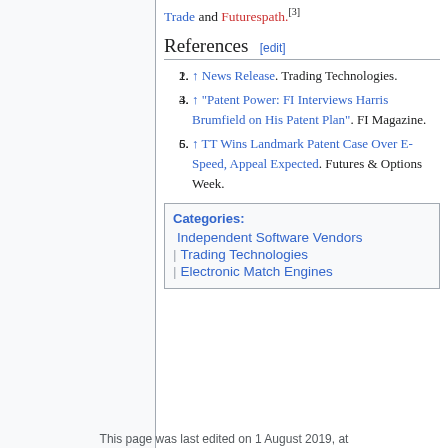Trade and Futurespath.[3]
References [edit]
↑ News Release. Trading Technologies.
↑ "Patent Power: FI Interviews Harris Brumfield on His Patent Plan". FI Magazine.
↑ TT Wins Landmark Patent Case Over E-Speed, Appeal Expected. Futures & Options Week.
Categories: Independent Software Vendors | Trading Technologies | Electronic Match Engines
This page was last edited on 1 August 2019, at